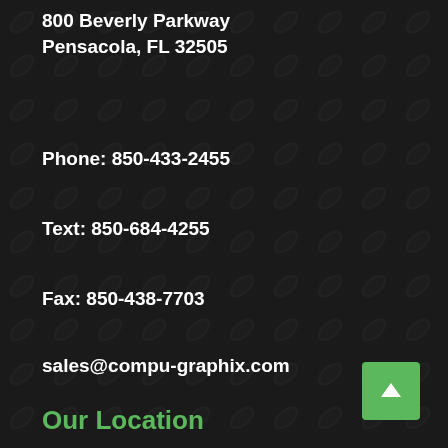800 Beverly Parkway
Pensacola, FL 32505
Phone: 850-433-2455
Text: 850-684-4255
Fax: 850-438-7703
sales@compu-graphix.com
Our Location